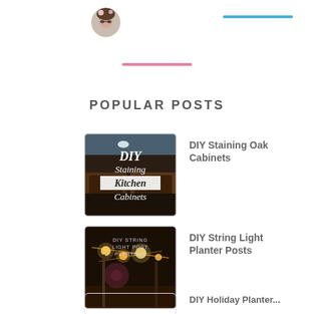[Figure (photo): Circular avatar photo of a person wearing sunglasses with a floral headpiece]
[Figure (illustration): Blue horizontal bar/line decoration]
[Figure (illustration): Pink horizontal bar/line decoration]
POPULAR POSTS
[Figure (photo): Dark photo of kitchen cabinets with text overlay: DIY Staining Kitchen Cabinets]
DIY Staining Oak Cabinets
[Figure (photo): Night photo of string lights on posts with text overlay: DIY STRING LIGHT POST PLANTERS]
DIY String Light Planter Posts
[Figure (photo): Partially visible thumbnail for DIY Holiday Planter post]
DIY Holiday Planter